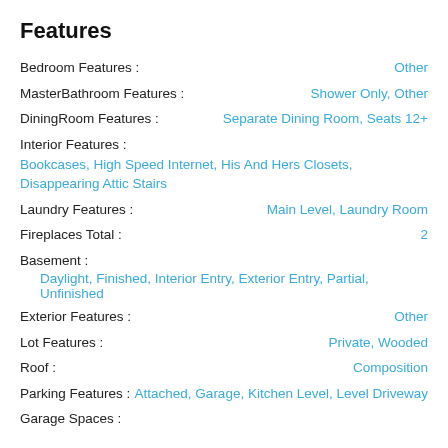Features
Bedroom Features : Other
MasterBathroom Features : Shower Only, Other
DiningRoom Features : Separate Dining Room, Seats 12+
Interior Features : Bookcases, High Speed Internet, His And Hers Closets, Disappearing Attic Stairs
Laundry Features : Main Level, Laundry Room
Fireplaces Total : 2
Basement : Daylight, Finished, Interior Entry, Exterior Entry, Partial, Unfinished
Exterior Features : Other
Lot Features : Private, Wooded
Roof : Composition
Parking Features : Attached, Garage, Kitchen Level, Level Driveway
Garage Spaces :